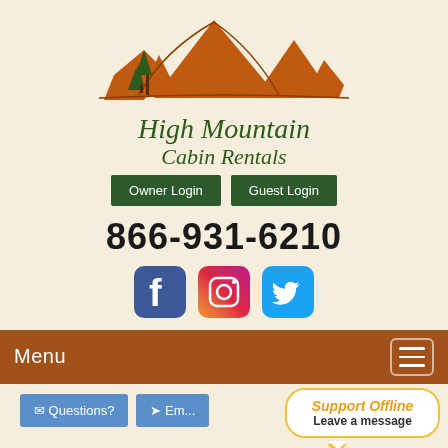[Figure (logo): High Mountain Cabin Rentals logo with mountain silhouette in brown/orange and green pine trees]
High Mountain Cabin Rentals
Owner Login | Guest Login
866-931-6210
[Figure (illustration): Facebook, Instagram, and Twitter social media icons]
Menu
Questions?  Em...
Support Offline
Leave a message
Appalachian Vi...